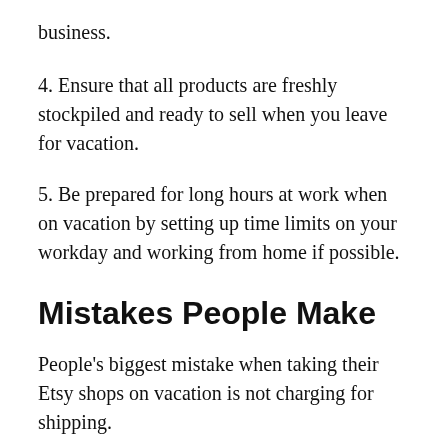business.
4. Ensure that all products are freshly stockpiled and ready to sell when you leave for vacation.
5. Be prepared for long hours at work when on vacation by setting up time limits on your workday and working from home if possible.
Mistakes People Make
People's biggest mistake when taking their Etsy shops on vacation is not charging for shipping.
This will cause them to lose a lot of money, and they'll likely have to reduce their hours to make